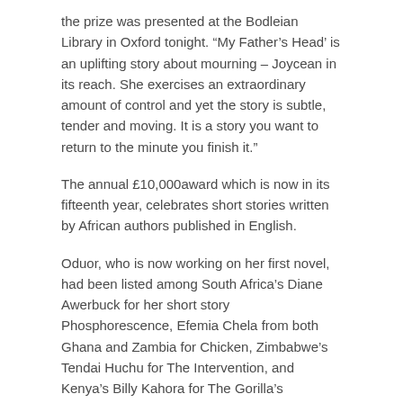the prize was presented at the Bodleian Library in Oxford tonight. “My Father’s Head’ is an uplifting story about mourning – Joycean in its reach. She exercises an extraordinary amount of control and yet the story is subtle, tender and moving. It is a story you want to return to the minute you finish it.”
The annual £10,000award which is now in its fifteenth year, celebrates short stories written by African authors published in English.
Oduor, who is now working on her first novel, had been listed among South Africa’s Diane Awerbuck for her short story Phosphorescence, Efemia Chela from both Ghana and Zambia for Chicken, Zimbabwe’s Tendai Huchu for The Intervention, and Kenya’s Billy Kahora for The Gorilla’s Apprentice.
Each will take home £500 prize money.
Oduor will be able to take up a month’s residence at Georgetown University in Washington DC, and will be invited to appear at the Open Book Festival in Cape Town in September, the Storymoja Hay Festival in Nairobi and the Ake Festival in Nigeria.